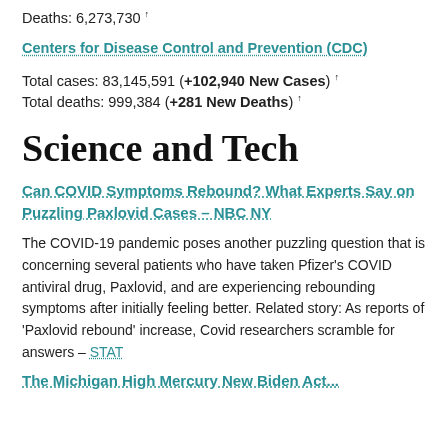Deaths: 6,273,730 ↑
Centers for Disease Control and Prevention (CDC)
Total cases: 83,145,591 (+102,940 New Cases) ↑
Total deaths: 999,384 (+281 New Deaths) ↑
Science and Tech
Can COVID Symptoms Rebound? What Experts Say on Puzzling Paxlovid Cases – NBC NY
The COVID-19 pandemic poses another puzzling question that is concerning several patients who have taken Pfizer's COVID antiviral drug, Paxlovid, and are experiencing rebounding symptoms after initially feeling better. Related story: As reports of 'Paxlovid rebound' increase, Covid researchers scramble for answers – STAT
The Michigan High Mercury New Biden Act...